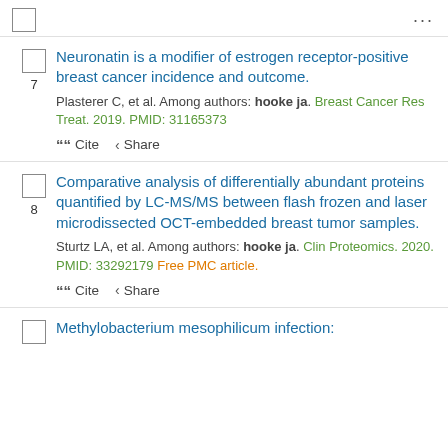...
7. Neuronatin is a modifier of estrogen receptor-positive breast cancer incidence and outcome. Plasterer C, et al. Among authors: hooke ja. Breast Cancer Res Treat. 2019. PMID: 31165373
8. Comparative analysis of differentially abundant proteins quantified by LC-MS/MS between flash frozen and laser microdissected OCT-embedded breast tumor samples. Sturtz LA, et al. Among authors: hooke ja. Clin Proteomics. 2020. PMID: 33292179 Free PMC article.
Methylobacterium mesophilicum infection: